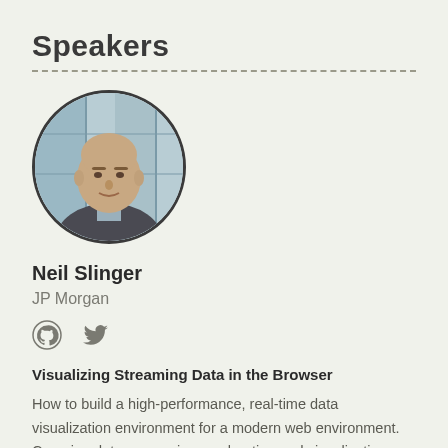Speakers
[Figure (photo): Circular portrait photo of Neil Slinger, a bald man in a grey suit and light blue shirt, photographed in front of a modern glass building interior]
Neil Slinger
JP Morgan
[Figure (other): GitHub and Twitter social media icons]
Visualizing Streaming Data in the Browser
How to build a high-performance, real-time data visualization environment for a modern web environment. Covering data processing, exploration and visualization.